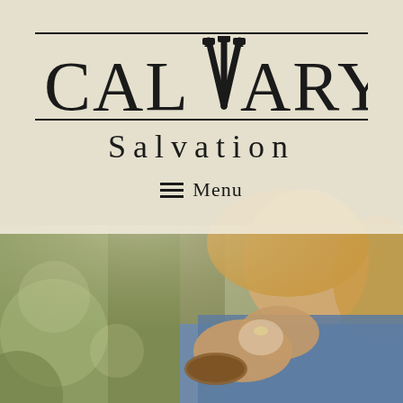[Figure (logo): Calvary church logo with nails forming the letter V/cross in the middle of the word CALVARY, with double horizontal lines above and below the text]
SALVATION
Menu
[Figure (photo): A woman with blonde hair wearing a denim jacket and decorative bracelet, photographed from the side with hands clasped together in prayer, against a blurred outdoor background]